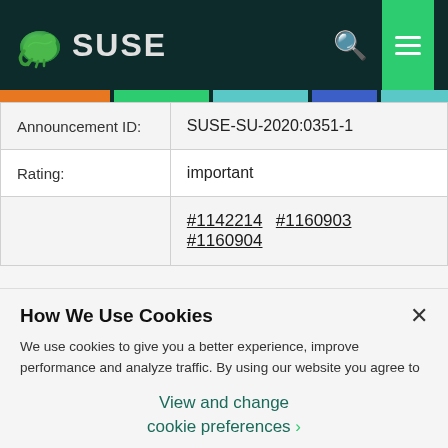SUSE
| Field | Value |
| --- | --- |
| Announcement ID: | SUSE-SU-2020:0351-1 |
| Rating: | important |
|  | #1142214  #1160903  #1160904 |
How We Use Cookies
We use cookies to give you a better experience, improve performance and analyze traffic. By using our website you agree to our use of cookies.
View and change cookie preferences >